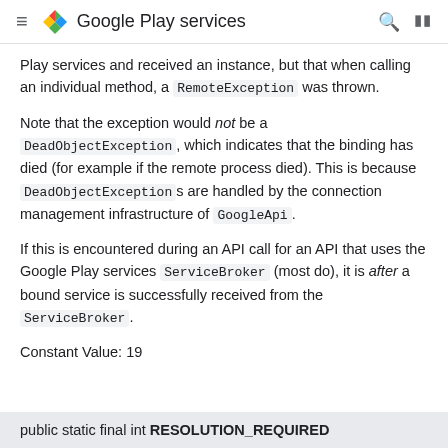Google Play services
Play services and received an instance, but that when calling an individual method, a RemoteException was thrown.
Note that the exception would not be a DeadObjectException, which indicates that the binding has died (for example if the remote process died). This is because DeadObjectException s are handled by the connection management infrastructure of GoogleApi.
If this is encountered during an API call for an API that uses the Google Play services ServiceBroker (most do), it is after a bound service is successfully received from the ServiceBroker.
Constant Value: 19
public static final int RESOLUTION_REQUIRED